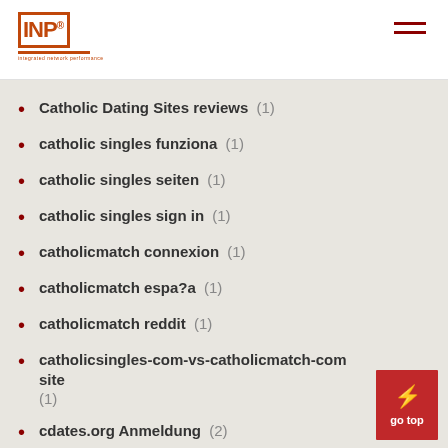INP (logo) navigation header
Catholic Dating Sites reviews (1)
catholic singles funziona (1)
catholic singles seiten (1)
catholic singles sign in (1)
catholicmatch connexion (1)
catholicmatch espa?a (1)
catholicmatch reddit (1)
catholicsingles-com-vs-catholicmatch-com site (1)
cdates.org Anmeldung (2)
cdates.org Datierung (1)